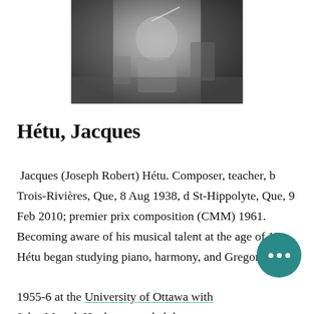[Figure (photo): Black and white photograph of Jacques Hétu, partially visible, appears to be conducting or writing]
Hétu, Jacques
Jacques (Joseph Robert) Hétu. Composer, teacher, b Trois-Rivières, Que, 8 Aug 1938, d St-Hippolyte, Que, 9 Feb 2010; premier prix composition (CMM) 1961. Becoming aware of his musical talent at the age of 15, Hétu began studying piano, harmony, and Gregorian chant 1955-6 at the University of Ottawa with Jules Martel. He then attended the Conservatoire de musique du Québec à